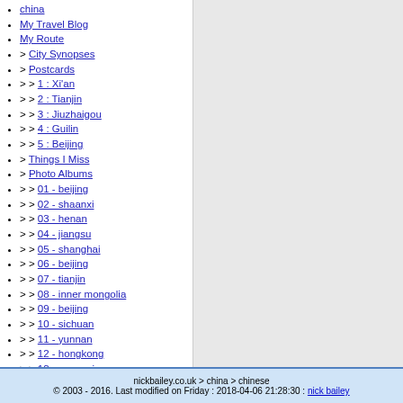china
My Travel Blog
My Route
> City Synopses
> Postcards
> > 1 : Xi'an
> > 2 : Tianjin
> > 3 : Jiuzhaigou
> > 4 : Guilin
> > 5 : Beijing
> Things I Miss
> Photo Albums
> > 01 - beijing
> > 02 - shaanxi
> > 03 - henan
> > 04 - jiangsu
> > 05 - shanghai
> > 06 - beijing
> > 07 - tianjin
> > 08 - inner mongolia
> > 09 - beijing
> > 10 - sichuan
> > 11 - yunnan
> > 12 - hongkong
> > 13 - guangxi
> > 14 - beijing
Chinese Language
> Characters
nickbailey.co.uk > china > chinese
© 2003 - 2016. Last modified on Friday : 2018-04-06 21:28:30 : nick bailey